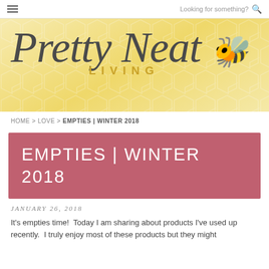≡  Looking for something?  🔍
[Figure (logo): Pretty Neat Living logo on yellow honeycomb background with script font and 'LIVING' in gold letters]
HOME > LOVE > EMPTIES | WINTER 2018
EMPTIES | WINTER 2018
JANUARY 26, 2018
It's empties time!  Today I am sharing about products I've used up recently.  I truly enjoy most of these products but they might